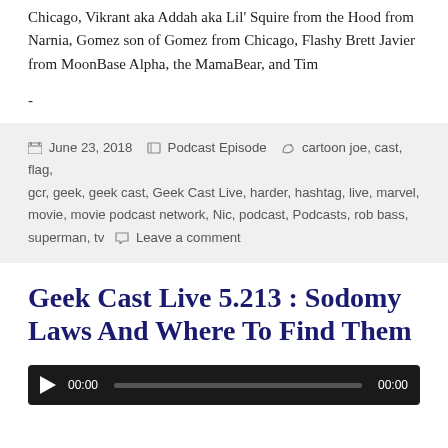Chicago, Vikrant aka Addah aka Lil' Squire from the Hood from Narnia, Gomez son of Gomez from Chicago, Flashy Brett Javier from MoonBase Alpha, the MamaBear, and Tim
-
June 23, 2018  Podcast Episode  cartoon joe, cast, flag, gcr, geek, geek cast, Geek Cast Live, harder, hashtag, live, marvel, movie, movie podcast network, Nic, podcast, Podcasts, rob bass, superman, tv  Leave a comment
Geek Cast Live 5.213 : Sodomy Laws And Where To Find Them
[Figure (other): Audio player with play button, time 00:00, progress bar, end time 00:00]